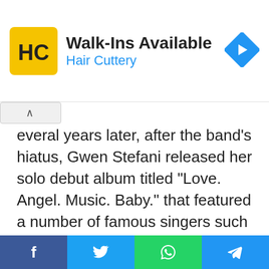[Figure (logo): Hair Cuttery advertisement banner with HC logo, 'Walk-Ins Available' heading, 'Hair Cuttery' subtitle in blue, and a blue diamond arrow icon on the right]
everal years later, after the band's hiatus, Gwen Stefani released her solo debut album titled “Love. Angel. Music. Baby.” that featured a number of famous singers such as Linda Perry, Andre 3000, and Tony Ashwin Kanal. The album sold 309 thousand copies during its first week and produced such famous singles as “What You Waiting For?”, “Rich Girl” and “Hollaback Girl”. These singles earned Gwen Stefani a Grammy Award for Best Female Pop Performance, as well as
[Figure (infographic): Social share bar with Facebook, Twitter, WhatsApp, and Telegram buttons]